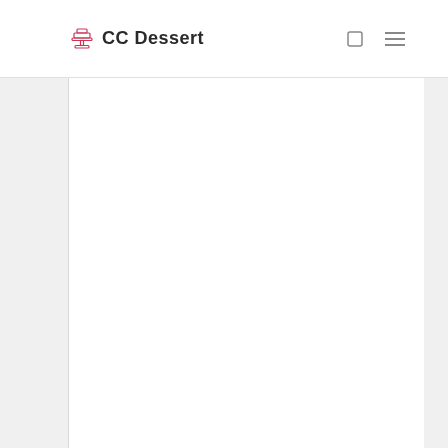CC Dessert
[Figure (logo): CC Dessert logo with a cake stand icon in pink/red and bold text 'CC Dessert' in dark color]
[Figure (other): Navigation icons: a square/search icon and a hamburger menu icon on the right side of the header]